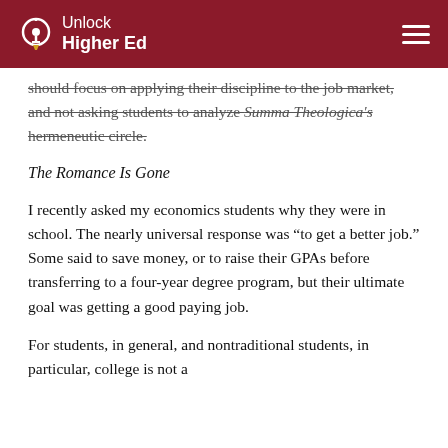Unlock Higher Ed
should focus on applying their discipline to the job market, and not asking students to analyze Summa Theologica's hermeneutic circle.
The Romance Is Gone
I recently asked my economics students why they were in school. The nearly universal response was “to get a better job.” Some said to save money, or to raise their GPAs before transferring to a four-year degree program, but their ultimate goal was getting a good paying job.
For students, in general, and nontraditional students, in particular, college is not a